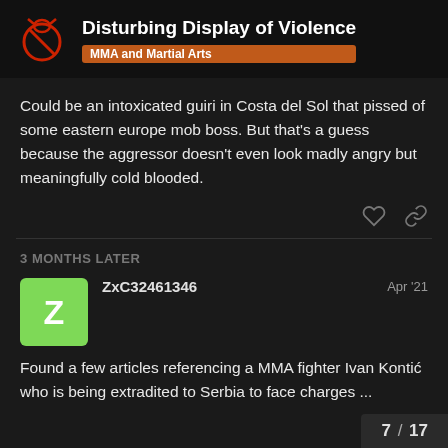Disturbing Display of Violence — MMA and Martial Arts
Could be an intoxicated guiri in Costa del Sol that pissed of some eastern europe mob boss. But that's a guess because the aggressor doesn't even look madly angry but meaningfully cold blooded.
3 MONTHS LATER
ZxC32461346  Apr '21
Found a few articles referencing a MMA fighter Ivan Kontić who is being extradited to Serbia to face charges ...
7 / 17